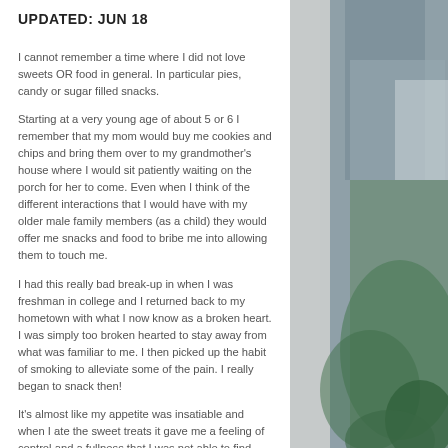UPDATED: JUN 18
I cannot remember a time where I did not love sweets OR food in general. In particular pies, candy or sugar filled snacks. Starting at a very young age of about 5 or 6 I remember that my mom would buy me cookies and chips and bring them over to my grandmother's house where I would sit patiently waiting on the porch for her to come. Even when I think of the different interactions that I would have with my older male family members (as a child) they would offer me snacks and food to bribe me into allowing them to touch me. I had this really bad break-up in when I was freshman in college and I returned back to my hometown with what I now know as a broken heart. I was simply too broken hearted to stay away from what was familiar to me. I then picked up the habit of smoking to alleviate some of the pain. I really began to snack then! It's almost like my appetite was insatiable and when I ate the sweet treats it gave me a feeling of control and a fullness that I was not able to find
[Figure (photo): A photo on the right side of the page showing a blurred indoor scene with a plant (green leaves) in the foreground and furniture in the background with blue/grey tones.]